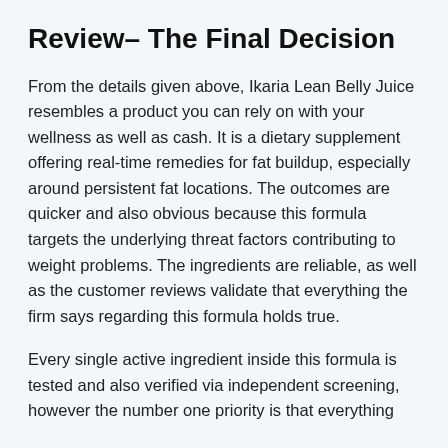Review– The Final Decision
From the details given above, Ikaria Lean Belly Juice resembles a product you can rely on with your wellness as well as cash. It is a dietary supplement offering real-time remedies for fat buildup, especially around persistent fat locations. The outcomes are quicker and also obvious because this formula targets the underlying threat factors contributing to weight problems. The ingredients are reliable, as well as the customer reviews validate that everything the firm says regarding this formula holds true.
Every single active ingredient inside this formula is tested and also verified via independent screening, however the number one priority is that everything...